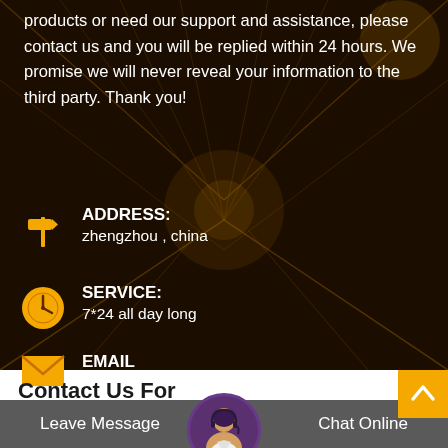products or need our support and assistance, please contact us and you will be replied within 24 hours. We promise we will never reveal your information to the third party. Thank you!
ADDRESS: zhengzhou , china
SERVICE: 7*24 all day long
EMAIL query@sinoftm.com
Contact Us For
Leave Message
Chat Online